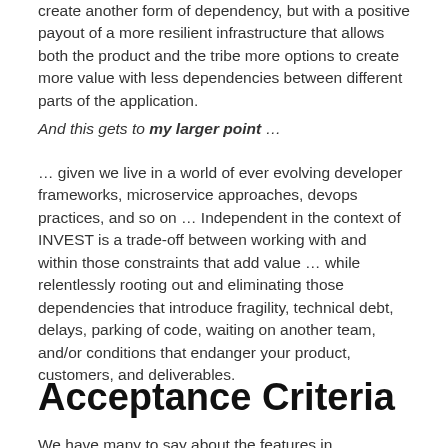create another form of dependency, but with a positive payout of a more resilient infrastructure that allows both the product and the tribe more options to create more value with less dependencies between different parts of the application.
And this gets to my larger point …
… given we live in a world of ever evolving developer frameworks, microservice approaches, devops practices, and so on … Independent in the context of INVEST is a trade-off between working with and within those constraints that add value … while relentlessly rooting out and eliminating those dependencies that introduce fragility, technical debt, delays, parking of code, waiting on another team, and/or conditions that endanger your product, customers, and deliverables.
Acceptance Criteria
We have many to say about the features in